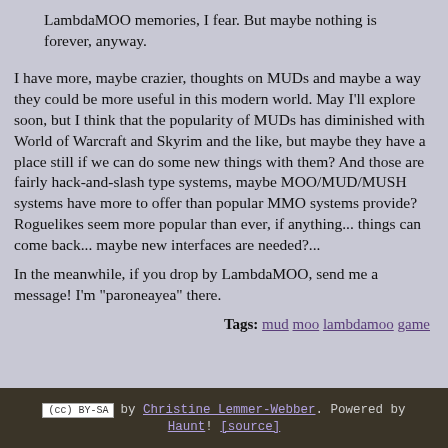LambdaMOO memories, I fear. But maybe nothing is forever, anyway.
I have more, maybe crazier, thoughts on MUDs and maybe a way they could be more useful in this modern world. May I'll explore soon, but I think that the popularity of MUDs has diminished with World of Warcraft and Skyrim and the like, but maybe they have a place still if we can do some new things with them? And those are fairly hack-and-slash type systems, maybe MOO/MUD/MUSH systems have more to offer than popular MMO systems provide? Roguelikes seem more popular than ever, if anything... things can come back... maybe new interfaces are needed?...
In the meanwhile, if you drop by LambdaMOO, send me a message! I'm "paroneayea" there.
Tags: mud moo lambdamoo game
by Christine Lemmer-Webber. Powered by Haunt! [source]